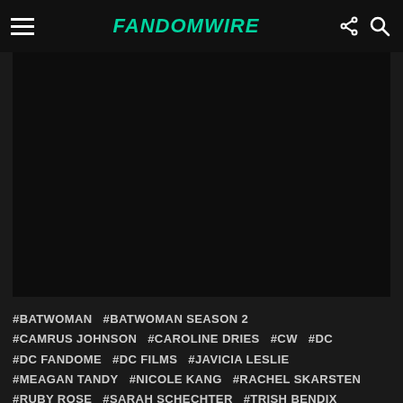FandomWire
[Figure (photo): Dark/black image area, content not visible]
#BATWOMAN  #BATWOMAN SEASON 2  #CAMRUS JOHNSON  #CAROLINE DRIES  #CW  #DC  #DC FANDOME  #DC FILMS  #JAVICIA LESLIE  #MEAGAN TANDY  #NICOLE KANG  #RACHEL SKARSTEN  #RUBY ROSE  #SARAH SCHECHTER  #TRISH BENDIX